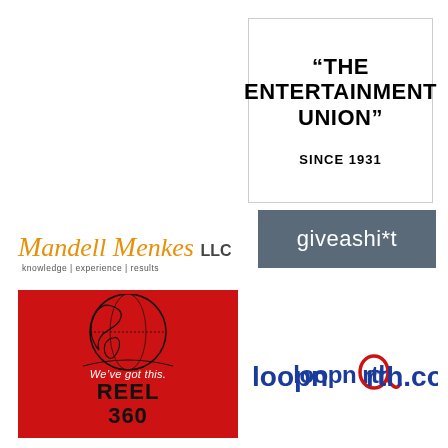[Figure (logo): The Entertainment Union logo - text in a bordered box reading "THE ENTERTAINMENT UNION" SINCE 1931]
[Figure (logo): Mandell Menkes LLC logo with tagline knowledge | experience | results]
[Figure (logo): giveashi*t logo - white text on dark grey/slate background]
[Figure (logo): Reel 360 logo - red background with globe outline illustration, text We've got this. REEL 360]
[Figure (logo): loopnorth.com logo - blue text with red circular loop accent on the letter o]